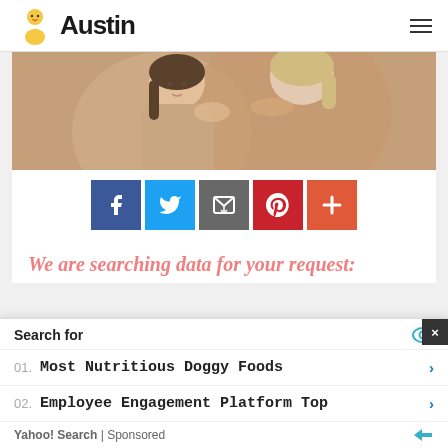Austin
[Figure (photo): Two women embracing – a younger dark-haired woman and an older blonde woman hugging each other warmly]
[Figure (infographic): Social sharing buttons: Facebook, Twitter, Email, Pinterest, and a plus/more button]
We are searching data for your request:
Search for
01. Most Nutritious Doggy Foods
02. Employee Engagement Platform Top
Yahoo! Search | Sponsored